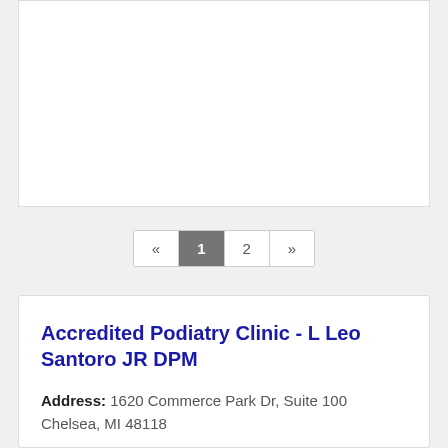[Figure (other): White card area at top of page, empty content region]
« 1 2 »
Accredited Podiatry Clinic - L Leo Santoro JR DPM
Address: 1620 Commerce Park Dr, Suite 100 Chelsea, MI 48118
Phone: (734) 433-0842